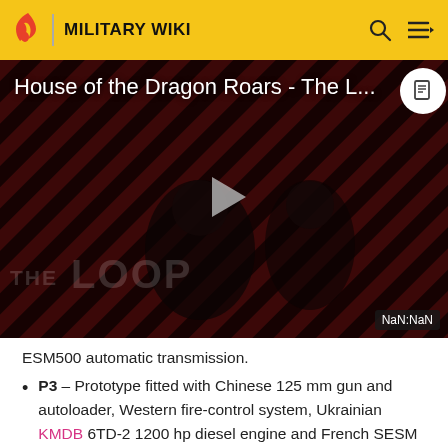MILITARY WIKI
[Figure (screenshot): Video thumbnail showing 'House of the Dragon Roars - The L...' with THE LOOP branding, play button, and NaN:NaN time indicator on a dark striped background with figures visible]
ESM500 automatic transmission.
P3 – Prototype fitted with Chinese 125 mm gun and autoloader, Western fire-control system, Ukrainian KMDB 6TD-2 1200 hp diesel engine and French SESM ESM500 automatic transmission.